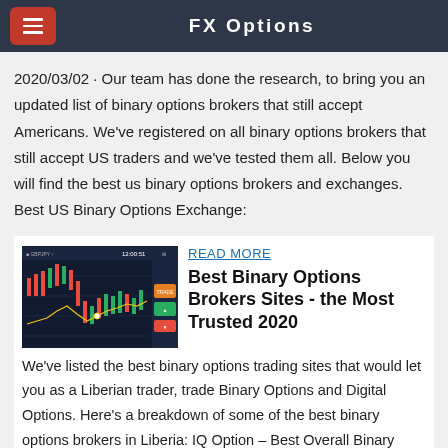FX Options
2020/03/02 · Our team has done the research, to bring you an updated list of binary options brokers that still accept Americans. We've registered on all binary options brokers that still accept US traders and we've tested them all. Below you will find the best us binary options brokers and exchanges. Best US Binary Options Exchange:
[Figure (screenshot): Trading chart screenshot showing candlestick/line chart with green and red indicators on a dark background]
READ MORE
Best Binary Options Brokers Sites - the Most Trusted 2020
We've listed the best binary options trading sites that would let you as a Liberian trader, trade Binary Options and Digital Options. Here's a breakdown of some of the best binary options brokers in Liberia: IQ Option – Best Overall Binary Options Broker In Liberia. Binomo – Reliable Binary Options Broker.